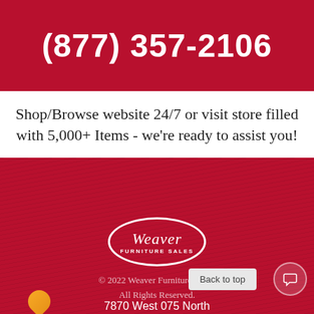(877) 357-2106
Shop/Browse website 24/7 or visit store filled with 5,000+ Items - we're ready to assist you!
[Figure (logo): Weaver Furniture Sales oval logo with cursive script and subtitle text]
© 2022 Weaver Furniture Sales. All Rights Reserved.
Back to top
7870 West 075 North